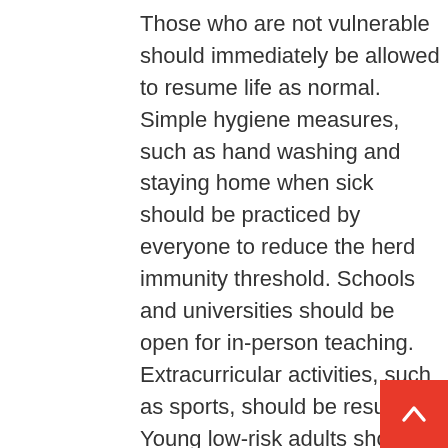Those who are not vulnerable should immediately be allowed to resume life as normal. Simple hygiene measures, such as hand washing and staying home when sick should be practiced by everyone to reduce the herd immunity threshold. Schools and universities should be open for in-person teaching. Extracurricular activities, such as sports, should be resumed. Young low-risk adults should work normally, rather than from home. Restaurants and other businesses should open. Arts, music, sport and other cultural activities should resume. People who are more at risk may participate if they wish, while society as a whole enjoys the protection conferred upon the